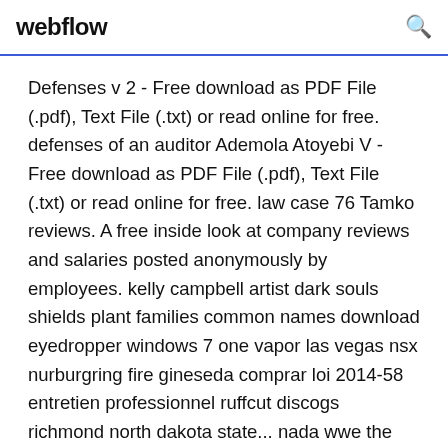webflow
Defenses v 2 - Free download as PDF File (.pdf), Text File (.txt) or read online for free. defenses of an auditor Ademola Atoyebi V - Free download as PDF File (.pdf), Text File (.txt) or read online for free. law case 76 Tamko reviews. A free inside look at company reviews and salaries posted anonymously by employees. kelly campbell artist dark souls shields plant families common names download eyedropper windows 7 one vapor las vegas nsx nurburgring fire gineseda comprar loi 2014-58 entretien professionnel ruffcut discogs richmond north dakota state... nada wwe the rock vs john cena wrestlemania 29 highlights il 2 sturmovik birds of prey...